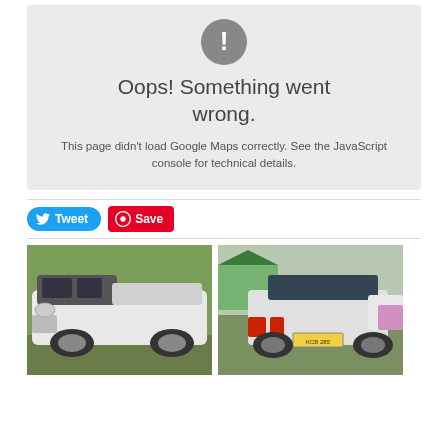[Figure (screenshot): Error message box with gray background showing an exclamation mark icon in a gray circle, title 'Oops! Something went wrong.' and error text about Google Maps not loading]
Oops! Something went wrong.
This page didn't load Google Maps correctly. See the JavaScript console for technical details.
[Figure (other): Tweet button (blue pill shaped) and Save button (red rectangle with Pinterest icon) social sharing buttons]
[Figure (photo): White stretch limousine (Chrysler 300) photographed from the front-left angle with green hedge background]
[Figure (photo): White hearse (Lincoln) photographed from the rear at an outdoor event with a green tent and other vehicles in background]